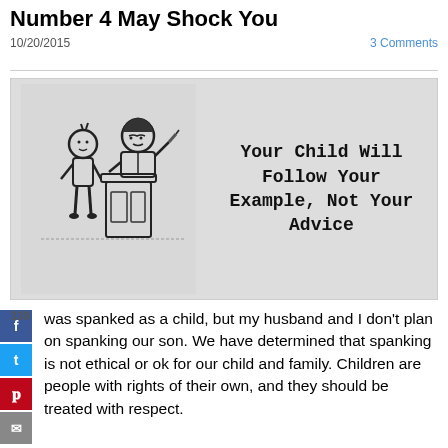Number 4 May Shock You
10/20/2015
3 Comments
[Figure (illustration): Vintage black and white illustration of a child standing next to an adult at a podium/desk, with text reading 'Your Child Will Follow Your Example, Not Your Advice']
339 was spanked as a child, but my husband and I don't plan on spanking our son. We have determined that spanking is not ethical or ok for our child and family. Children are people with rights of their own, and they should be treated with respect.